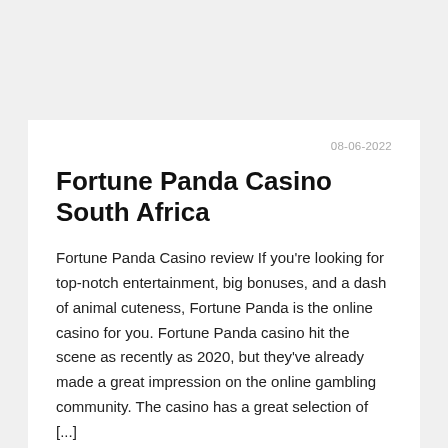08-06-2022
Fortune Panda Casino South Africa
Fortune Panda Casino review If you’re looking for top-notch entertainment, big bonuses, and a dash of animal cuteness, Fortune Panda is the online casino for you. Fortune Panda casino hit the scene as recently as 2020, but they’ve already made a great impression on the online gambling community. The casino has a great selection of [...]
read more ›